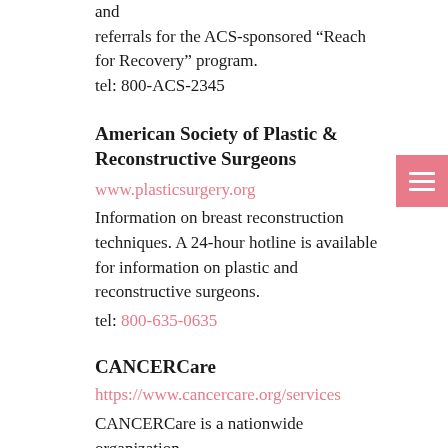and referrals for the ACS-sponsored “Reach for Recovery” program.
tel: 800-ACS-2345
American Society of Plastic & Reconstructive Surgeons
www.plasticsurgery.org
Information on breast reconstruction techniques. A 24-hour hotline is available for information on plastic and reconstructive surgeons.
tel: 800-635-0635
CANCERCare
https://www.cancercare.org/services
CANCERCare is a nationwide organization, offering a multitude of services including counseling, support groups, case...